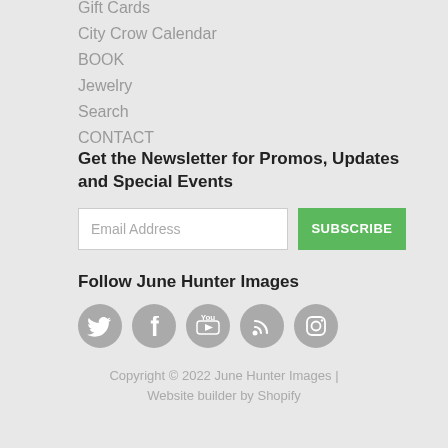Gift Cards
City Crow Calendar
BOOK
Jewelry
Search
CONTACT
Get the Newsletter for Promos, Updates and Special Events
Email Address
SUBSCRIBE
Follow June Hunter Images
[Figure (other): Social media icons: Twitter, Facebook, YouTube, RSS, Instagram]
Copyright © 2022 June Hunter Images | Website builder by Shopify